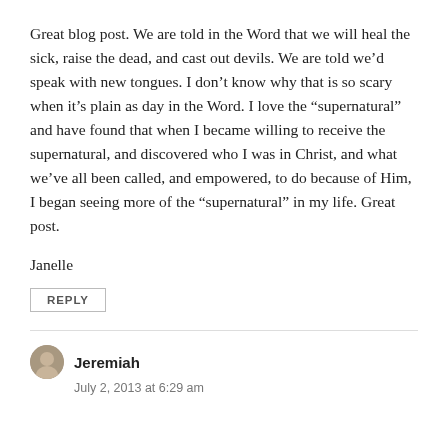Great blog post. We are told in the Word that we will heal the sick, raise the dead, and cast out devils. We are told we’d speak with new tongues. I don’t know why that is so scary when it’s plain as day in the Word. I love the “supernatural” and have found that when I became willing to receive the supernatural, and discovered who I was in Christ, and what we’ve all been called, and empowered, to do because of Him, I began seeing more of the “supernatural” in my life. Great post.
Janelle
REPLY
Jeremiah
July 2, 2013 at 6:29 am